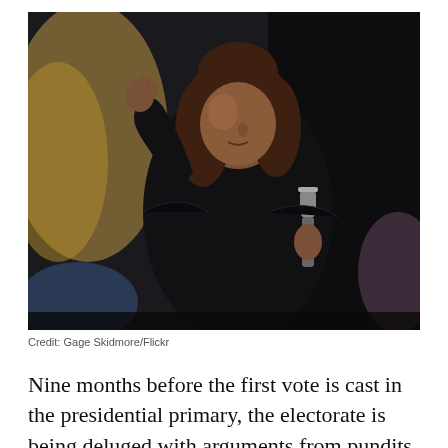[Figure (photo): A woman in a black blazer speaking into a microphone and gesturing with her right hand raised, against a dark background with blurred stage lighting]
Credit: Gage Skidmore/Flickr
Nine months before the first vote is cast in the presidential primary, the electorate is being deluged with arguments from pundits about “electability” and “identity politics.” The latter is